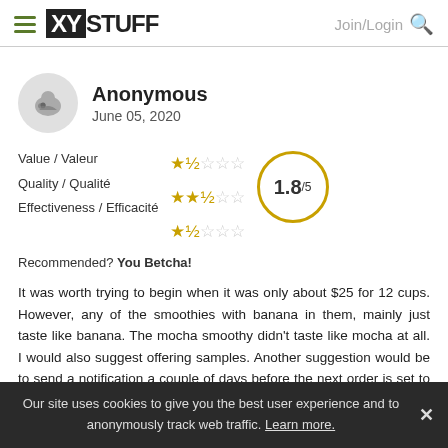XYSTUFF | Join/Login
Anonymous
June 05, 2020
Value / Valeur
Quality / Qualité
Effectiveness / Efficacité
Recommended? You Betcha!
[Figure (infographic): Star ratings: Value 1.5/5, Quality 2.5/5, Effectiveness 1.5/5, overall score 1.8/5 in gold circle]
It was worth trying to begin when it was only about $25 for 12 cups. However, any of the smoothies with banana in them, mainly just taste like banana. The mocha smoothy didn't taste like mocha at all. I would also suggest offering samples. Another suggestion would be to send a notification a couple of days before the next order is set to process. I haven't received anything reminding me, so the
Our site uses cookies to give you the best user experience and to anonymously track web traffic. Learn more.